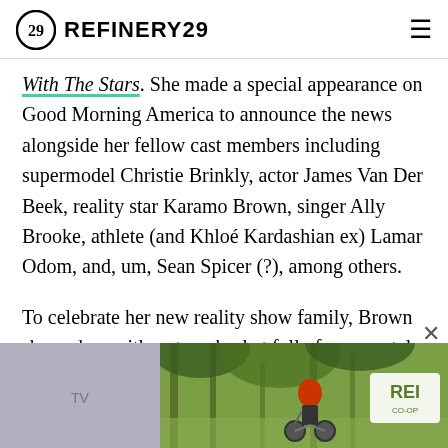REFINERY29
With The Stars. She made a special appearance on Good Morning America to announce the news alongside her fellow cast members including supermodel Christie Brinkly, actor James Van Der Beek, reality star Karamo Brown, singer Ally Brooke, athlete (and Khloé Kardashian ex) Lamar Odom, and, um, Sean Spicer (?), among others.
To celebrate her new reality show family, Brown showed up with a straw basket full of roses petals as a nod to her Bachelorette roots. (Can we call them roots if the show just wrapped earlier this summer? I think yes.)
[Figure (photo): REI co-op advertisement banner showing a cyclist in a forest trail with a red helmet]